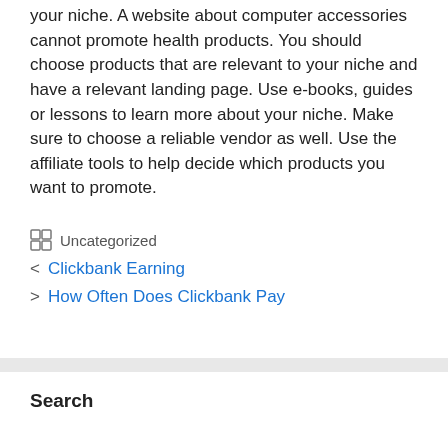your niche. A website about computer accessories cannot promote health products. You should choose products that are relevant to your niche and have a relevant landing page. Use e-books, guides or lessons to learn more about your niche. Make sure to choose a reliable vendor as well. Use the affiliate tools to help decide which products you want to promote.
Uncategorized
< Clickbank Earning
> How Often Does Clickbank Pay
Search